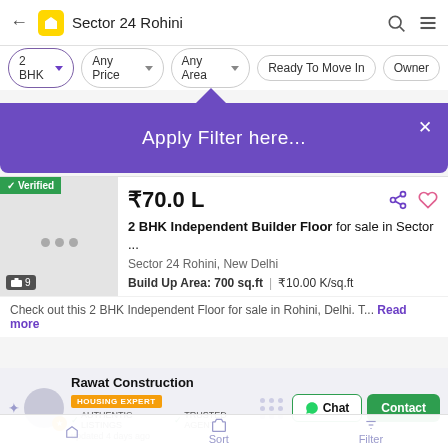Sector 24 Rohini
2 BHK | Any Price | Any Area | Ready To Move In | Owner
Apply Filter here...
₹70.0 L
2 BHK Independent Builder Floor for sale in Sector ...
Sector 24 Rohini, New Delhi
Build Up Area: 700 sq.ft | ₹10.00 K/sq.ft
Check out this 2 BHK Independent Floor for sale in Rohini, Delhi. T... Read more
Rawat Construction HOUSING EXPERT ✓ AUTHENTIC LISTINGS ✓ TRUSTED AGENT updated 4 days ago